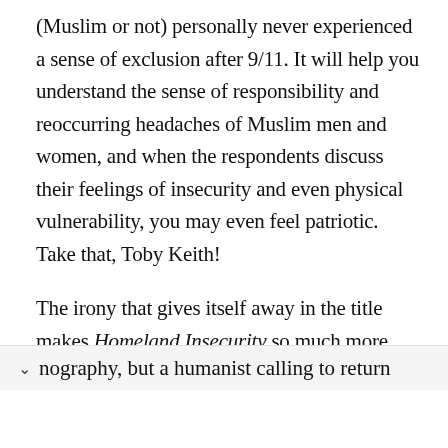(Muslim or not) personally never experienced a sense of exclusion after 9/11. It will help you understand the sense of responsibility and reoccurring headaches of Muslim men and women, and when the respondents discuss their feelings of insecurity and even physical vulnerability, you may even feel patriotic. Take that, Toby Keith!
The irony that gives itself away in the title makes Homeland Insecurity so much more than nography, but a humanist calling to return